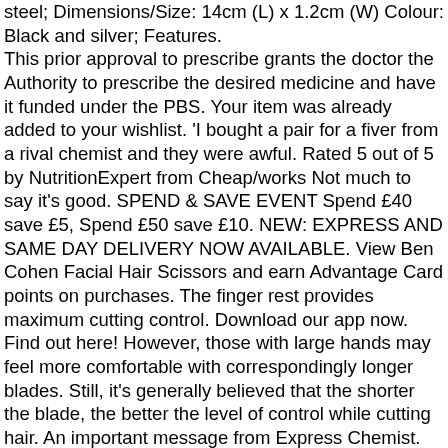steel; Dimensions/Size: 14cm (L) x 1.2cm (W) Colour: Black and silver; Features. This prior approval to prescribe grants the doctor the Authority to prescribe the desired medicine and have it funded under the PBS. Your item was already added to your wishlist. 'I bought a pair for a fiver from a rival chemist and they were awful. Rated 5 out of 5 by NutritionExpert from Cheap/works Not much to say it's good. SPEND & SAVE EVENT Spend £40 save £5, Spend £50 save £10. NEW: EXPRESS AND SAME DAY DELIVERY NOW AVAILABLE. View Ben Cohen Facial Hair Scissors and earn Advantage Card points on purchases. The finger rest provides maximum cutting control. Download our app now. Find out here! However, those with large hands may feel more comfortable with correspondingly longer blades. Still, it's generally believed that the shorter the blade, the better the level of control while cutting hair. An important message from Express Chemist. Tecto 6" Professional Hairdressing Barber Hair scissors Super sharp blades Hair Cutting scissors Black colour Salon Shears for Men, women, student, beginner. Menu Find a store My Account My Account My Shopping List My Orders Sign In/Sign Up Where do I shop trade? INTEREST FREE. Great for layering or adding texture to your hair do, these B-Me thinning scissors feature